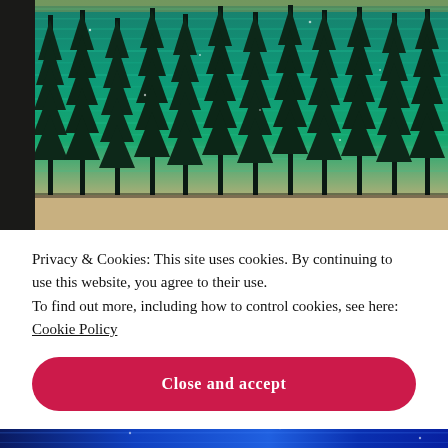[Figure (photo): Close-up photograph of a textured painting on canvas showing tall dark pine/fir trees against a vibrant teal and green shimmering background, reminiscent of a northern forest with aurora or reflective water. The painting is shown at an angle resting on a beige surface.]
Privacy & Cookies: This site uses cookies. By continuing to use this website, you agree to their use.
To find out more, including how to control cookies, see here: Cookie Policy
Close and accept
[Figure (photo): Bottom portion of another painting showing vivid blue tones, partially visible at the bottom of the page.]